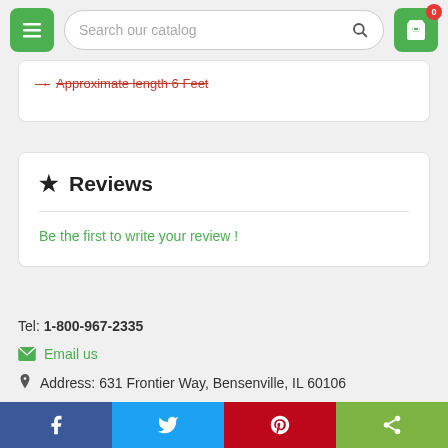Search our catalog
Approximate length 6 Feet
★ Reviews
Be the first to write your review !
Tel: 1-800-967-2335
Email us
Address: 631 Frontier Way, Bensenville, IL 60106
Facebook Twitter Pinterest Share